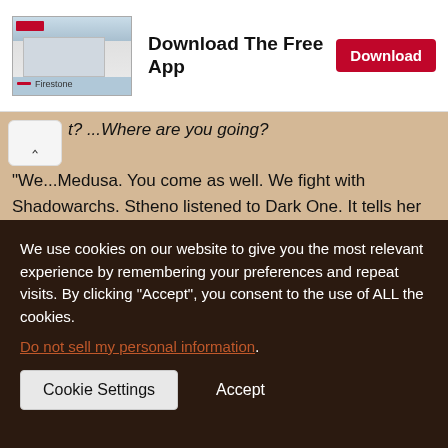[Figure (screenshot): Advertisement banner for Firestone app showing a Firestone store building image on the left, bold text 'Download The Free App' in the center, and a red 'Download' button on the right. Below the store image is the Firestone logo with a red line.]
t? ...Where are you going?
"We...Medusa. You come as well. We fight with Shadowarchs. Stheno listened to Dark One. It tells her its plan. We will fight but betray them when time is correct... We be Queens after. The Void swore it... with the ancient oath... yes, yes, that one..."
After the last word was spoken, both Medusa's stepsisters
We use cookies on our website to give you the most relevant experience by remembering your preferences and repeat visits. By clicking "Accept", you consent to the use of ALL the cookies.
Do not sell my personal information.
Cookie Settings
Accept